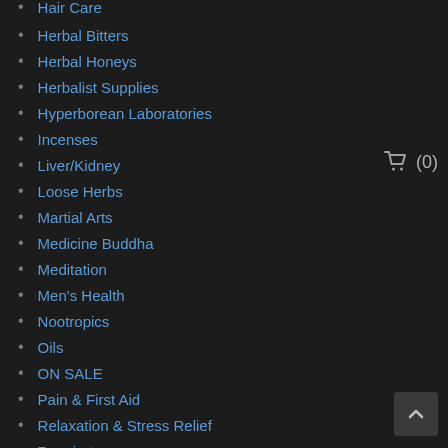Hair Care
Herbal Bitters
Herbal Honeys
Herbalist Supplies
Hyperborean Laboratories
Incenses
Liver/Kidney
Loose Herbs
Martial Arts
Medicine Buddha
Meditation
Men's Health
Nootropics
Oils
ON SALE
Pain & First Aid
Relaxation & Stress Relief
Respiratory
Sacred Lotus
Seeds & Live Plants
Select Bulk Herbs
Siddha Medicine